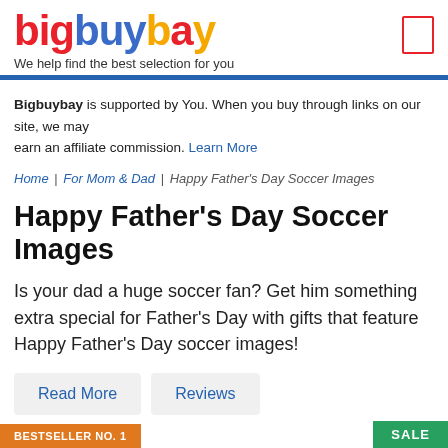bigbuybay — We help find the best selection for you
Bigbuybay is supported by You. When you buy through links on our site, we may earn an affiliate commission. Learn More
Home | For Mom & Dad | Happy Father's Day Soccer Images
Happy Father's Day Soccer Images
Is your dad a huge soccer fan? Get him something extra special for Father's Day with gifts that feature Happy Father's Day soccer images!
Read More
Reviews
BESTSELLER NO. 1
SALE